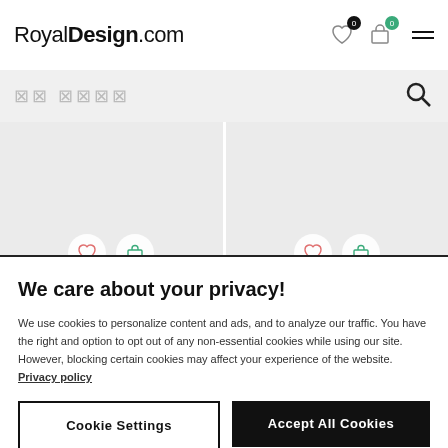RoyalDesign.com
[Figure (screenshot): Search bar with placeholder icons on grey background]
[Figure (screenshot): Two product cards on grey background with heart and cart action buttons, labeled DCWEDITIONS]
We care about your privacy!
We use cookies to personalize content and ads, and to analyze our traffic. You have the right and option to opt out of any non-essential cookies while using our site. However, blocking certain cookies may affect your experience of the website. Privacy policy
Cookie Settings
Accept All Cookies